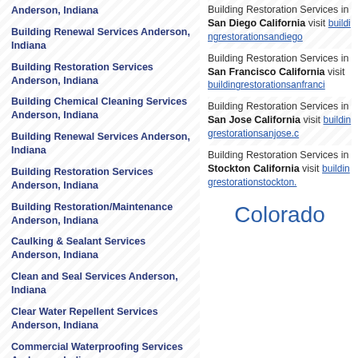Anderson, Indiana
Building Renewal Services Anderson, Indiana
Building Restoration Services Anderson, Indiana
Building Chemical Cleaning Services Anderson, Indiana
Building Renewal Services Anderson, Indiana
Building Restoration Services Anderson, Indiana
Building Restoration/Maintenance Anderson, Indiana
Caulking & Sealant Services Anderson, Indiana
Clean and Seal Services Anderson, Indiana
Clear Water Repellent Services Anderson, Indiana
Commercial Waterproofing Services Anderson, Indiana
Concrete Cleaning & Restoration Services Anderson, Indiana
Building Restoration Services in San Diego California visit buildingrestorationsandiego
Building Restoration Services in San Francisco California visit buildingrestorationsanfranci
Building Restoration Services in San Jose California visit buildingrestorationsanjose.c
Building Restoration Services in Stockton California visit buildingrestorationstockton.
Colorado